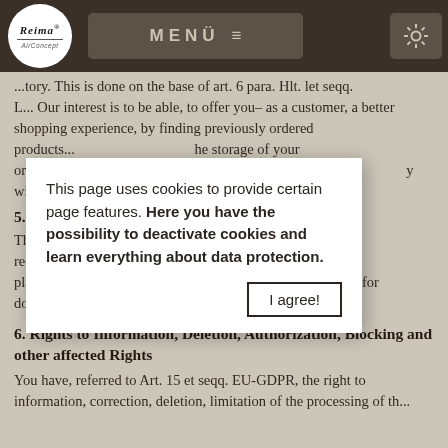[Figure (screenshot): Reima AirConcept logo in white circle on dark navigation bar]
MENÜ ≡ [settings icon]
...tory. This is done on the base of art. 6 para. Hlt. let seqq. L... Our interest is to be able, to offer you– as a customer, a better shopping experience, by finding previously ordered products...he storage of your ord...ove mention...y will be deleted.
5. Delet...
The data...rocessing of your req...a storage can take pla...tax or commercial reasons – for documentation.
[Figure (screenshot): Cookie consent modal dialog with text: 'This page uses cookies to provide certain page features. Here you have the possibility to deactivate cookies and learn everything about data protection.' and an 'I agree!' button]
6. Rights to Information, Deletion, Authorization, Blocking and other affected Rights
You have, referred to Art. 15 et seqq. EU-GDPR, the right to information, correction, deletion, limitation of the processing of th...